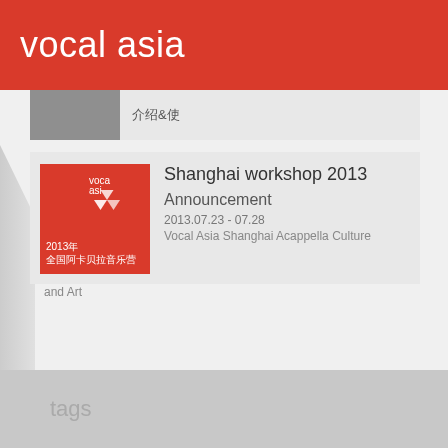vocal asia
Shanghai workshop 2013
Announcement
2013.07.23 - 07.28
Vocal Asia Shanghai Acappella Culture and Art
tags